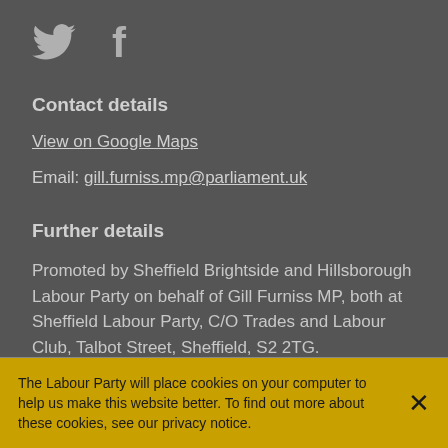[Figure (logo): Twitter bird icon and Facebook 'f' icon social media logos]
Contact details
View on Google Maps
Email: gill.furniss.mp@parliament.uk
Further details
Promoted by Sheffield Brightside and Hillsborough Labour Party on behalf of Gill Furniss MP, both at Sheffield Labour Party, C/O Trades and Labour Club, Talbot Street, Sheffield, S2 2TG.
The Labour Party will place cookies on your computer to help us make this website better. To find out more about these cookies, see our privacy notice.